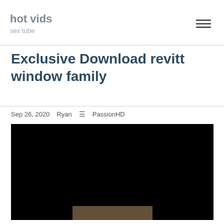hot vids
sex tube
Exclusive Download revitt window family
Sep 26, 2020   Ryan   ≡  PassionHD
[Figure (screenshot): Black video player area with a small thumbnail visible at the bottom center]